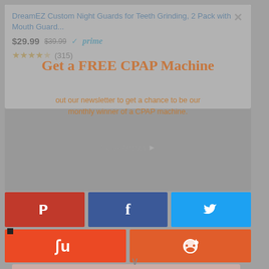[Figure (screenshot): Amazon product ad card for DreamEZ Custom Night Guards for Teeth Grinding, 2 Pack with Mouth Guard. Shows price $29.99 (original $39.99) with Prime badge, and 3.5 star rating with 315 reviews.]
DreamEZ Custom Night Guards for Teeth Grinding, 2 Pack with Mouth Guard...
$29.99  $39.99  ✓prime
★★★★☆ (315)
[Figure (screenshot): Modal overlay with text 'Get a FREE CPAP Machine' and subtitle about signing up for newsletter to get a chance to be monthly winner of a CPAP machine. Has Ads by Amazon label. Also shows social media share buttons: Pinterest (red), Facebook (dark blue), Twitter (light blue), StumbleUpon (red-orange), Reddit (orange). Subscribe button area below.]